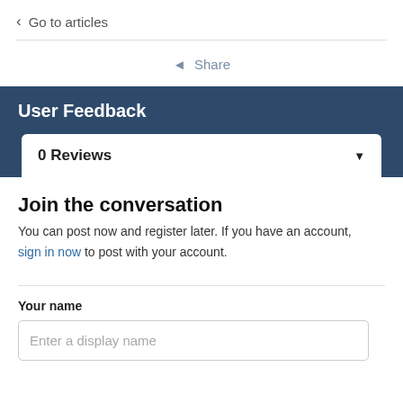< Go to articles
< Share
User Feedback
0 Reviews
Join the conversation
You can post now and register later. If you have an account, sign in now to post with your account.
Your name
Enter a display name